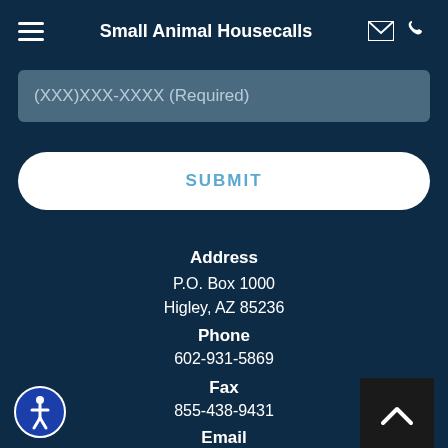Small Animal Housecalls
(XXX)XXX-XXXX (Required)
SUBMIT
Address
P.O. Box 1000
Highley, AZ 85236
Phone
602-931-5869
Fax
855-438-9431
Email
info@smallanimalhousecalls.com